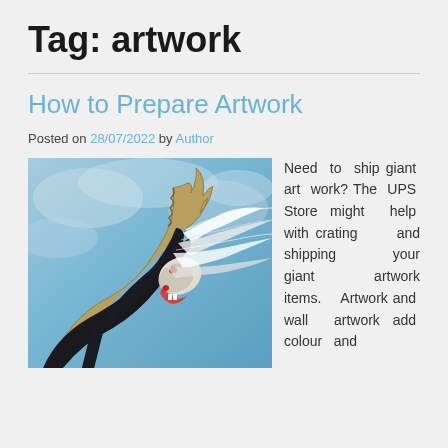Tag: artwork
How to Prepare Artwork
Posted on 28/07/2022 by Author
[Figure (illustration): Fantasy illustration of a black unicorn with a golden horn, white flowing mane, and red eyes, rearing up against a blue cloudy sky background.]
Need to ship giant art work? The UPS Store might help with crating and shipping your giant artwork items. Artwork and wall artwork add colour and